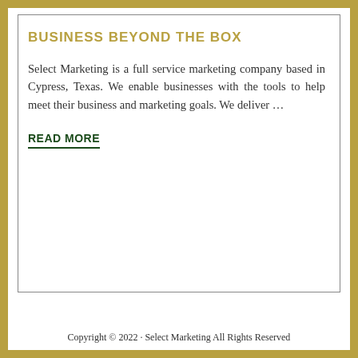BUSINESS BEYOND THE BOX
Select Marketing is a full service marketing company based in Cypress, Texas. We enable businesses with the tools to help meet their business and marketing goals. We deliver …
READ MORE
Copyright © 2022 · Select Marketing All Rights Reserved